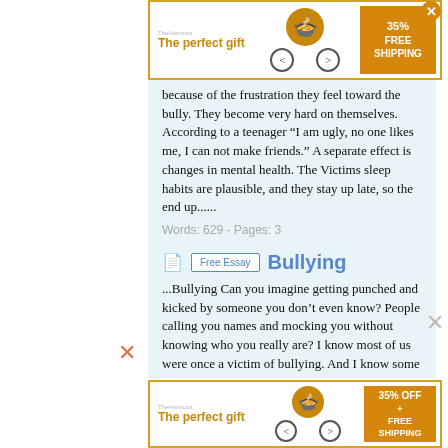[Figure (infographic): Advertisement banner: 'The perfect gift' with TheHermosa logo, pot image, navigation arrows, and 35% FREE SHIPPING badge]
because of the frustration they feel toward the bully. They become very hard on themselves. According to a teenager “I am ugly, no one likes me, I can not make friends.” A separate effect is changes in mental health. The Victims sleep habits are plausible, and they stay up late, so the end up......
Words: 629 - Pages: 3
Bullying
...Bullying Can you imagine getting punched and kicked by someone you don’t even know? People calling you names and mocking you without knowing who you really are? I know most of us were once a victim of bullying. And I know some of us were the ones doing the hurting and name callings. If you are
[Figure (infographic): Advertisement banner: 'The perfect gift' with TheHermosa logo, pot image, navigation arrows, and 35% OFF + FREE SHIPPING badge]